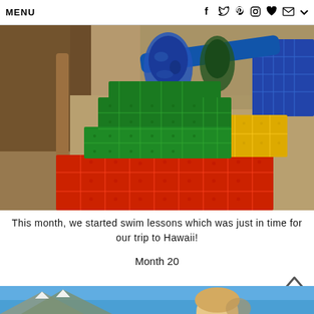MENU  f  t  p  instagram  heart  mail  chevron
[Figure (photo): Close-up photo of colorful toy brick blocks (green, yellow, red) stacked on a beige carpet. A wooden table leg is visible, and a child wearing blue camouflage socks stands nearby. Blue toy pieces visible in background.]
This month, we started swim lessons which was just in time for our trip to Hawaii!
Month 20
[Figure (photo): Photo showing blue sky, mountain peaks with snow, and a child's head with blonde hair holding or near a ball, outdoors in Hawaii or mountains.]